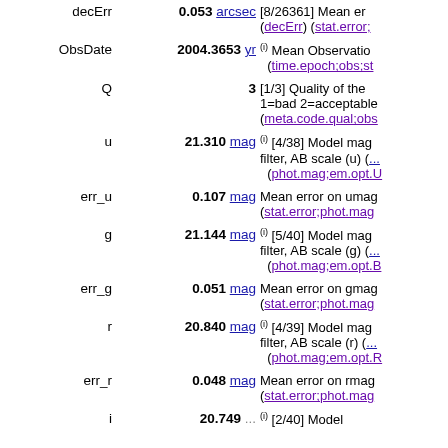| Name | Value | Description |
| --- | --- | --- |
| decErr | 0.053 arcsec | [8/26361] Mean error (decErr) (stat.error;...) |
| ObsDate | 2004.3653 yr | (i) Mean Observation (time.epoch;obs;sta...) |
| Q | 3 | [1/3] Quality of the 1=bad 2=acceptable (meta.code.qual;obs...) |
| u | 21.310 mag | (i) [4/38] Model mag filter, AB scale (u) (phot.mag;em.opt.U...) |
| err_u | 0.107 mag | Mean error on umag (stat.error;phot.mag...) |
| g | 21.144 mag | (i) [5/40] Model mag filter, AB scale (g) (phot.mag;em.opt.B...) |
| err_g | 0.051 mag | Mean error on gmag (stat.error;phot.mag...) |
| r | 20.840 mag | (i) [4/39] Model mag filter, AB scale (r) (phot.mag;em.opt.R...) |
| err_r | 0.048 mag | Mean error on rmag (stat.error;phot.mag...) |
| i | 20.749 ... | (i) [2/40] Model mag... |